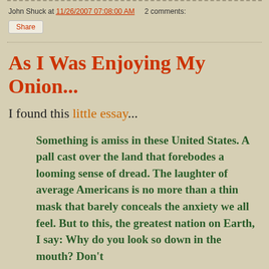John Shuck at 11/26/2007 07:08:00 AM   2 comments:
Share
As I Was Enjoying My Onion...
I found this little essay...
Something is amiss in these United States. A pall cast over the land that forebodes a looming sense of dread. The laughter of average Americans is no more than a thin mask that barely conceals the anxiety we all feel. But to this, the greatest nation on Earth, I say: Why do you look so down in the mouth? Don't